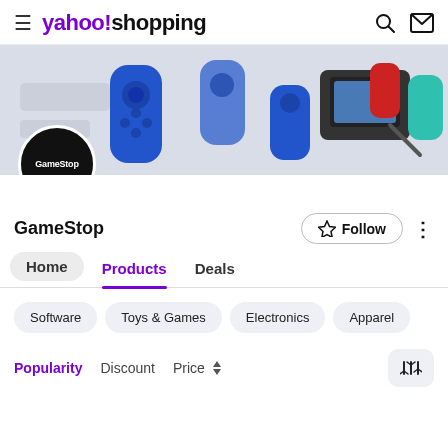yahoo!shopping
[Figure (photo): Nintendo Switch Joy-Con controllers and gaming accessories spread out on a light gray background, serving as a store banner for GameStop on Yahoo Shopping]
[Figure (logo): GameStop logo: black circle with white bold text 'GameStop']
GameStop
Follow
Home
Products
Deals
Software
Toys & Games
Electronics
Apparel
Popularity
Discount
Price